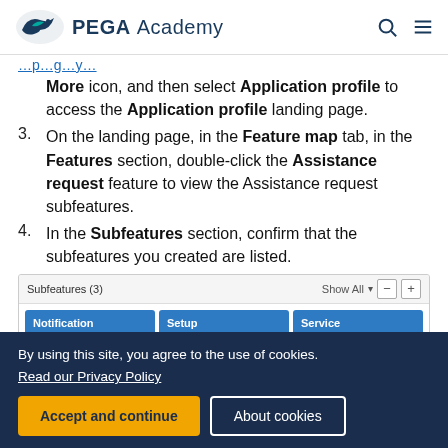PEGA Academy
More icon, and then select Application profile to access the Application profile landing page.
3. On the landing page, in the Feature map tab, in the Features section, double-click the Assistance request feature to view the Assistance request subfeatures.
4. In the Subfeatures section, confirm that the subfeatures you created are listed.
[Figure (screenshot): Screenshot of Subfeatures panel showing 3 cards: Notification (CURRENT), Setup (CURRENT), Service (CURRENT)]
By using this site, you agree to the use of cookies.
Read our Privacy Policy
Accept and continue
About cookies